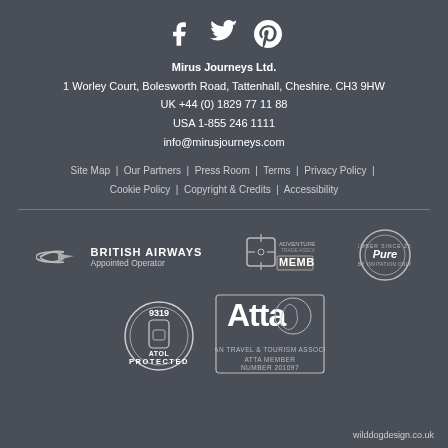[Figure (logo): Social media icons: Facebook, Twitter, Pinterest]
Mirus Journeys Ltd.
1 Worley Court, Bolesworth Road, Tattenhall, Cheshire. CH3 9HW
UK +44 (0) 1829 77 11 88
USA 1-855 246 1111
info@mirusjourneys.com
Site Map | Our Partners | Press Room | Terms | Privacy Policy | Cookie Policy | Copyright & Credits | Accessibility
[Figure (logo): British Airways Appointed Operator logo]
[Figure (logo): Adventure Travel Trade Association MEMBER logo]
[Figure (logo): Pure - Member since 2013 circular badge logo]
[Figure (logo): ATOL Protected 9319 circular logo]
[Figure (logo): Atta African Travel & Tourism Association - ATTA MEMBER NUMBER 201097]
wilddogdesign.co.uk